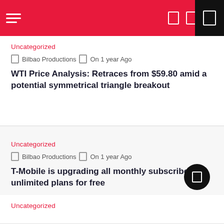Navigation bar with hamburger menu and icons
Uncategorized
Bilbao Productions  On 1 year Ago
WTI Price Analysis: Retraces from $59.80 amid a potential symmetrical triangle breakout
Uncategorized
Bilbao Productions  On 1 year Ago
T-Mobile is upgrading all monthly subscribers to unlimited plans for free
Uncategorized